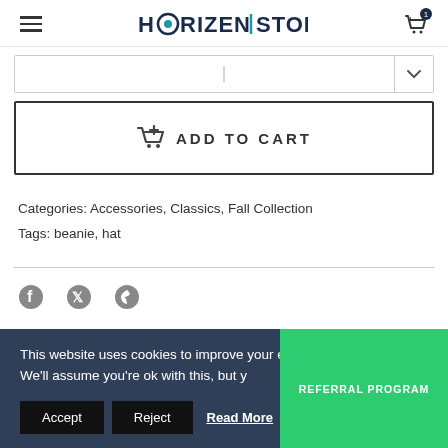HORIZEN | STORE
ADD TO CART
Categories: Accessories, Classics, Fall Collection
Tags: beanie, hat
This website uses cookies to improve your experience. We'll assume you're ok with this, but y
Accept  Reject  Read More  REFERRAL PROGRAM